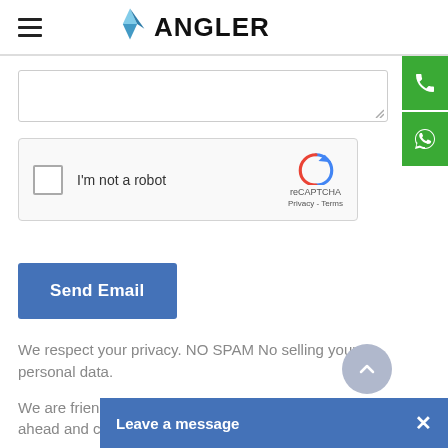[Figure (logo): ANGLER logo with triangular blue icon and bold black text]
[Figure (screenshot): Textarea input field stub, partially visible at top]
[Figure (screenshot): reCAPTCHA widget with checkbox labeled I'm not a robot, reCAPTCHA logo, Privacy and Terms links]
[Figure (screenshot): Send Email button in blue]
We respect your privacy. NO SPAM No selling your personal data.
We are friendly people who ahead and contact us
[Figure (screenshot): Leave a message bar at bottom with close X button]